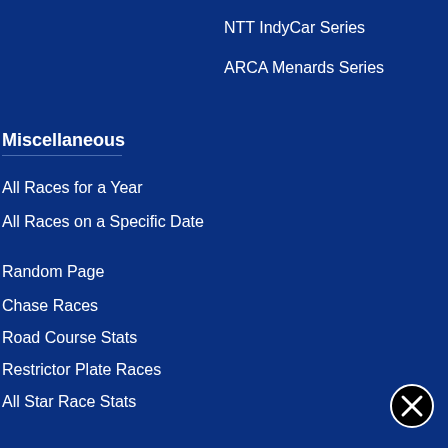NTT IndyCar Series
ARCA Menards Series
Miscellaneous
All Races for a Year
All Races on a Specific Date
Random Page
Chase Races
Road Course Stats
Restrictor Plate Races
All Star Race Stats
Links
Stats By Car Number
Contact Us
[Figure (illustration): Close/cancel button icon — circle with X inside, black and white]